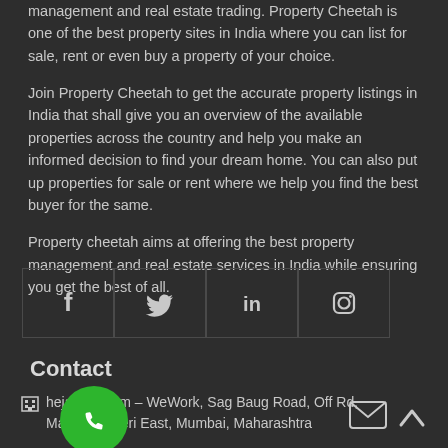management and real estate trading. Property Cheetah is one of the best property sites in India where you can list for sale, rent or even buy a property of your choice.
Join Property Cheetah to get the accurate property listings in India that shall give you an overview of the available properties across the country and help you make an informed decision to find your dream home. You can also put up properties for sale or rent where we help you find the best buyer for the same.
Property cheetah aims at offering the best property management and real estate services in India while ensuring you get the best of all.
[Figure (infographic): Four social media icon boxes in a row: Facebook (f), Twitter (bird), LinkedIn (in), Instagram (camera outline)]
Contact
Raheja Platinum – WeWork, Sag Baug Road, Off Rd, Marol, Andheri East, Mumbai, Maharashtra